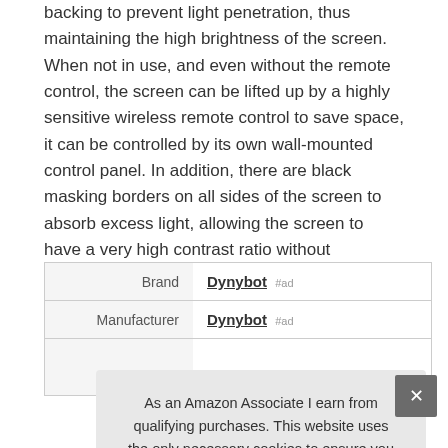backing to prevent light penetration, thus maintaining the high brightness of the screen. When not in use, and even without the remote control, the screen can be lifted up by a highly sensitive wireless remote control to save space, it can be controlled by its own wall-mounted control panel. In addition, there are black masking borders on all sides of the screen to absorb excess light, allowing the screen to have a very high contrast ratio without damaging your eyesight and reducing eye fatigue.
| Brand | Dynybot #ad |
| Manufacturer | Dynybot #ad |
|  |  |
As an Amazon Associate I earn from qualifying purchases. This website uses the only necessary cookies to ensure you get the best experience on our website. More information